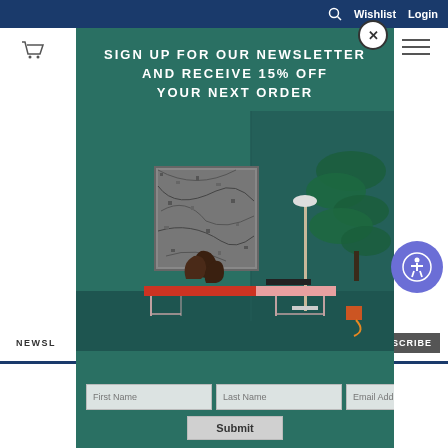Search  Wishlist  Login
[Figure (screenshot): Website navigation bar with cart icon on left, hamburger menu on right]
[Figure (screenshot): Modal popup with dark green background showing interior design scene with artwork, bench, lamp, and plant. Contains newsletter signup form with First Name, Last Name, Email Address fields and Submit button.]
SIGN UP FOR OUR NEWSLETTER AND RECEIVE 15% OFF YOUR NEXT ORDER
First Name | Last Name | Email Address
Submit
NEWSL... USCRIBE